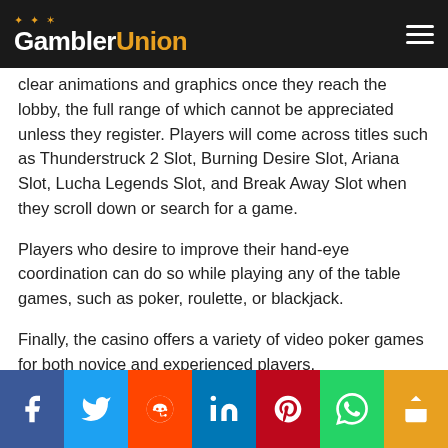GamblerUnion
clear animations and graphics once they reach the lobby, the full range of which cannot be appreciated unless they register. Players will come across titles such as Thunderstruck 2 Slot, Burning Desire Slot, Ariana Slot, Lucha Legends Slot, and Break Away Slot when they scroll down or search for a game.
Players who desire to improve their hand-eye coordination can do so while playing any of the table games, such as poker, roulette, or blackjack.
Finally, the casino offers a variety of video poker games for both novice and experienced players.
Social share bar: Facebook, Twitter, Reddit, LinkedIn, Pinterest, WhatsApp, Share